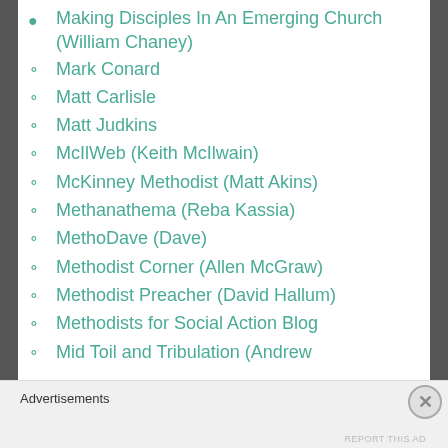Making Disciples In An Emerging Church (William Chaney)
Mark Conard
Matt Carlisle
Matt Judkins
McIlWeb (Keith McIlwain)
McKinney Methodist (Matt Akins)
Methanathema (Reba Kassia)
MethoDave (Dave)
Methodist Corner (Allen McGraw)
Methodist Preacher (David Hallum)
Methodists for Social Action Blog
Mid Toil and Tribulation (Andrew
Advertisements